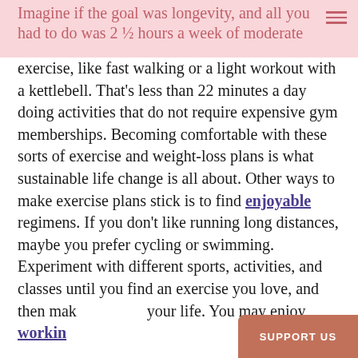Imagine if the goal was longevity, and all you had to do was 2 ½ hours a week of moderate
exercise, like fast walking or a light workout with a kettlebell. That's less than 22 minutes a day doing activities that do not require expensive gym memberships. Becoming comfortable with these sorts of exercise and weight-loss plans is what sustainable life change is all about. Other ways to make exercise plans stick is to find enjoyable regimens. If you don't like running long distances, maybe you prefer cycling or swimming. Experiment with different sports, activities, and classes until you find an exercise you love, and then make it part of your life. You may enjoy workin